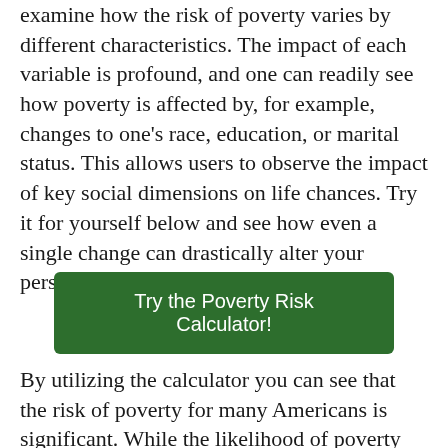examine how the risk of poverty varies by different characteristics. The impact of each variable is profound, and one can readily see how poverty is affected by, for example, changes to one's race, education, or marital status. This allows users to observe the impact of key social dimensions on life chances. Try it for yourself below and see how even a single change can drastically alter your personal risk of poverty.
Try the Poverty Risk Calculator!
By utilizing the calculator you can see that the risk of poverty for many Americans is significant. While the likelihood of poverty may